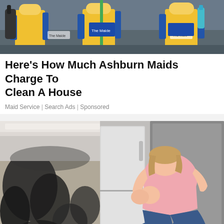[Figure (photo): Photo of cleaning maids in yellow uniforms holding cleaning equipment and supplies]
Here's How Much Ashburn Maids Charge To Clean A House
Maid Service | Search Ads | Sponsored
[Figure (photo): Woman in pink shirt crouching in distress next to a refrigerator beside a wall covered in black mold]
Solved! Surprising Ways To Get Rid of House